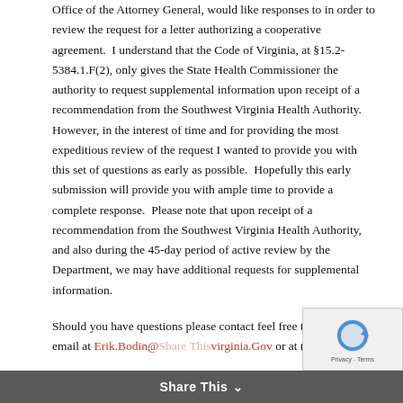Office of the Attorney General, would like responses to in order to review the request for a letter authorizing a cooperative agreement.  I understand that the Code of Virginia, at §15.2-5384.1.F(2), only gives the State Health Commissioner the authority to request supplemental information upon receipt of a recommendation from the Southwest Virginia Health Authority.  However, in the interest of time and for providing the most expeditious review of the request I wanted to provide you with this set of questions as early as possible.  Hopefully this early submission will provide you with ample time to provide a complete response.  Please note that upon receipt of a recommendation from the Southwest Virginia Health Authority, and also during the 45-day period of active review by the Department, we may have additional requests for supplemental information.
Should you have questions please contact feel free to contact me by email at Erik.Bodin@vdh.virginia.Gov or at (804) 367-...